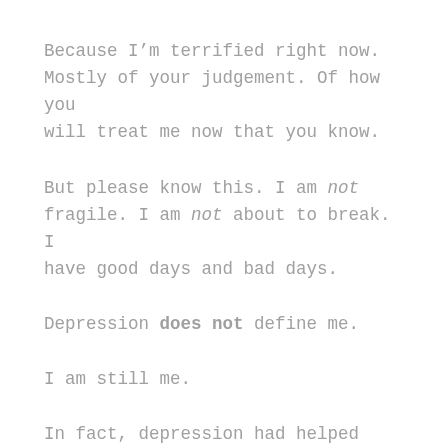Because I'm terrified right now. Mostly of your judgement. Of how you will treat me now that you know.
But please know this. I am not fragile. I am not about to break. I have good days and bad days.
Depression does not define me.
I am still me.
In fact, depression had helped shape me and make me a stronger and more